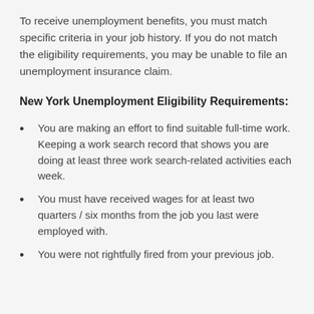To receive unemployment benefits, you must match specific criteria in your job history. If you do not match the eligibility requirements, you may be unable to file an unemployment insurance claim.
New York Unemployment Eligibility Requirements:
You are making an effort to find suitable full-time work. Keeping a work search record that shows you are doing at least three work search-related activities each week.
You must have received wages for at least two quarters / six months from the job you last were employed with.
You were not rightfully fired from your previous job.